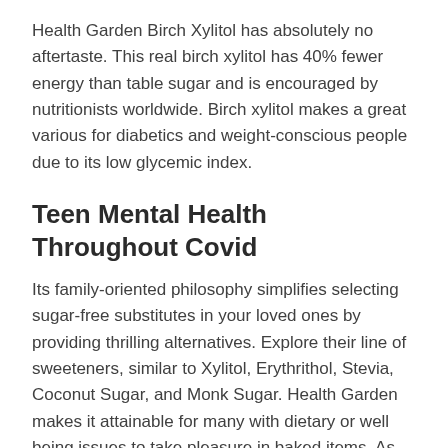Health Garden Birch Xylitol has absolutely no aftertaste. This real birch xylitol has 40% fewer energy than table sugar and is encouraged by nutritionists worldwide. Birch xylitol makes a great various for diabetics and weight-conscious people due to its low glycemic index.
Teen Mental Health Throughout Covid
Its family-oriented philosophy simplifies selecting sugar-free substitutes in your loved ones by providing thrilling alternatives. Explore their line of sweeteners, similar to Xylitol, Erythrithol, Stevia, Coconut Sugar, and Monk Sugar. Health Garden makes it attainable for many with dietary or well being issues to take pleasure in baked items. As increasingly more people eschew artificial sweeteners due to dangerous and harmful chemicals, Health Garden meets this newfound demand for purity with their dedication to 100 percent pure products. This is what makes them a true sweet-tooth recreation changer.